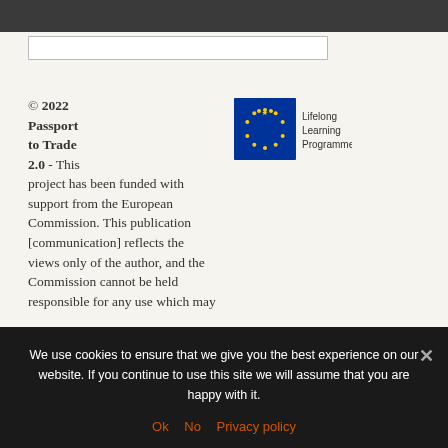© 2022 Passport to Trade 2.0 - This project has been funded with support from the European Commission. This publication [communication] reflects the views only of the author, and the Commission cannot be held responsible for any use which may
[Figure (logo): EU Lifelong Learning Programme logo with EU flag (blue rectangle with yellow stars circle) and text 'Lifelong Learning Programme']
We use cookies to ensure that we give you the best experience on our website. If you continue to use this site we will assume that you are happy with it.
Ok   No   Privacy policy